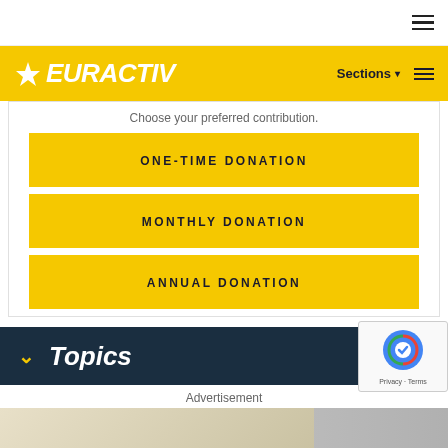EURACTIV — Sections
Choose your preferred contribution.
ONE-TIME DONATION
MONTHLY DONATION
ANNUAL DONATION
Topics
Advertisement